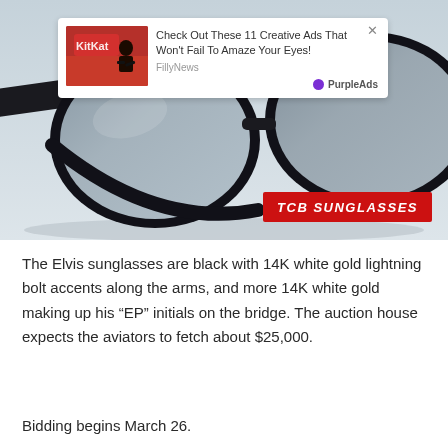[Figure (photo): Close-up photo of black aviator sunglasses with a reflective blue-silver lens on a light grey background. In the upper portion is an ad overlay showing a thumbnail of a woman sitting on a KitKat-themed bench, with text 'Check Out These 11 Creative Ads That Won't Fail To Amaze Your Eyes!' from FillyNews, powered by PurpleAds. A red label in the lower right reads 'TCB SUNGLASSES' in bold italic white text.]
The Elvis sunglasses are black with 14K white gold lightning bolt accents along the arms, and more 14K white gold making up his “EP” initials on the bridge. The auction house expects the aviators to fetch about $25,000.
Bidding begins March 26.